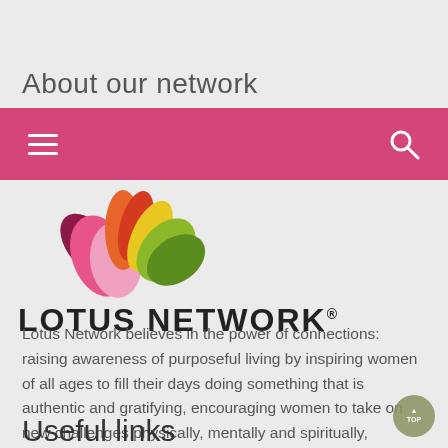About our network
[Figure (screenshot): Pink navigation bar with hamburger menu icon on left and search icon on right]
[Figure (logo): Lotus Network logo: colorful lotus flower above bold text LOTUS NETWORK with registered trademark symbol]
Lotus Network believes in the power of connections: raising awareness of purposeful living by inspiring women of all ages to fill their days doing something that is authentic and gratifying, encouraging women to take on new challenges physically, mentally and spiritually, spreading the message that age is no longer a limitation.
Useful links